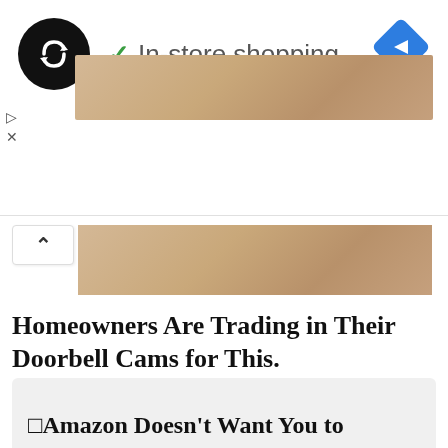[Figure (screenshot): Ad banner with brand logo (circular black icon with infinity-like symbol), green checkmark and 'In-store shopping' text, blue diamond navigation icon, and a tan/beige textured image strip]
[Figure (screenshot): Expand/collapse toggle button with upward caret, and a second tan/beige image strip]
Homeowners Are Trading in Their Doorbell Cams for This.
Keilini.com
□Amazon Doesn't Want You to